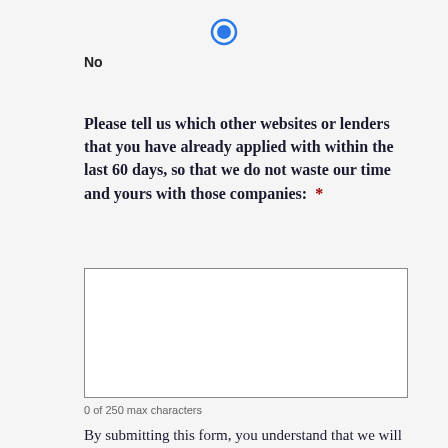[Figure (other): Blue radio button (selected) indicator icon]
No
Please tell us which other websites or lenders that you have already applied with within the last 60 days, so that we do not waste our time and yours with those companies: *
[Figure (other): Empty text area input box for user to enter lender names]
0 of 250 max characters
By submitting this form, you understand that we will be providing this information securely to our Select Partners. The